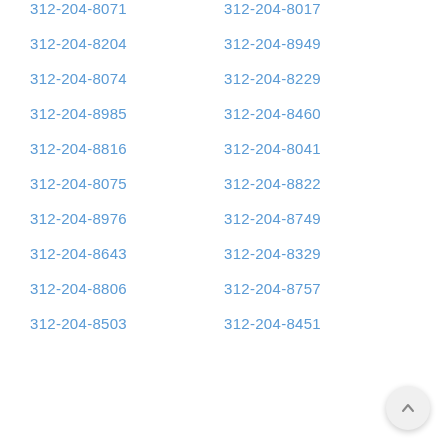312-204-8071
312-204-8017
312-204-8204
312-204-8949
312-204-8074
312-204-8229
312-204-8985
312-204-8460
312-204-8816
312-204-8041
312-204-8075
312-204-8822
312-204-8976
312-204-8749
312-204-8643
312-204-8329
312-204-8806
312-204-8757
312-204-8503
312-204-8451